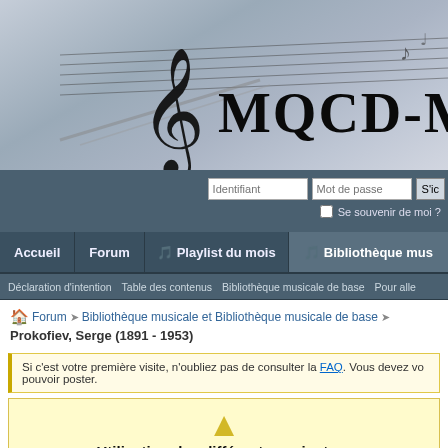[Figure (logo): MQCD-Musique website banner with treble clef and music staff lines on grey/blue background]
Identifiant | Mot de passe | S'ic | Se souvenir de moi ?
Accueil | Forum | Playlist du mois | Bibliothèque mus
Déclaration d'intention | Table des contenus | Bibliothèque musicale de base | Pour alle
Forum ➤ Bibliothèque musicale et Bibliothèque musicale de base ➤ Prokofiev, Serge (1891 - 1953)
Si c'est votre première visite, n'oubliez pas de consulter la FAQ. Vous devez vo pouvoir poster.
Utilisation des différents navigateur
pour la lecture des oeuvres de la Bibliothèque m